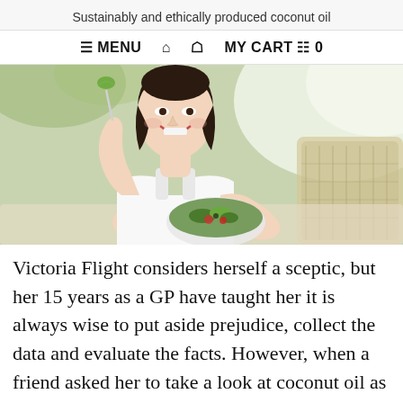Sustainably and ethically produced coconut oil
≡ MENU  🏠  👤  MY CART  🛒  0
[Figure (photo): Woman smiling and eating a salad from a bowl, sitting on a couch, bright background]
Victoria Flight considers herself a sceptic, but her 15 years as a GP have taught her it is always wise to put aside prejudice, collect the data and evaluate the facts. However, when a friend asked her to take a look at coconut oil as a potential cooking oil,